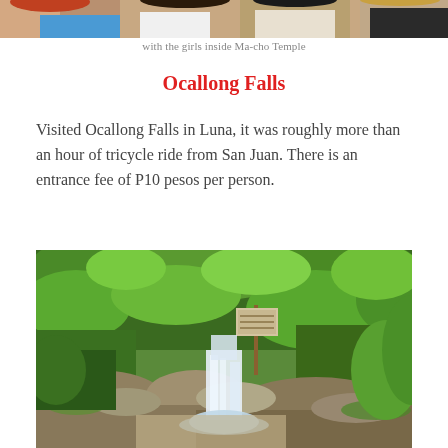[Figure (photo): Group photo of girls inside Ma-cho Temple, cropped at top, showing upper portion of people]
with the girls inside Ma-cho Temple
Ocallong Falls
Visited Ocallong Falls in Luna, it was roughly more than an hour of tricycle ride from San Juan. There is an entrance fee of P10 pesos per person.
[Figure (photo): Waterfall scene at Ocallong Falls surrounded by lush green tropical forest with rocks and a small waterfall cascading over stone steps, a sign visible on a pole]